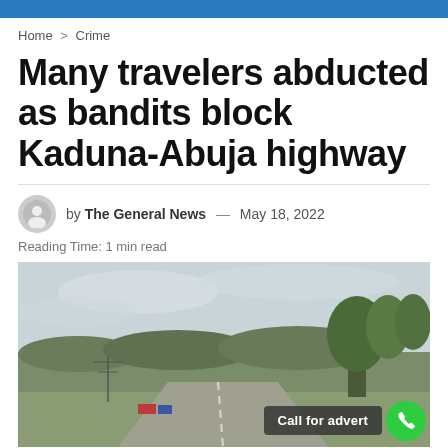Home > Crime
Many travelers abducted as bandits block Kaduna-Abuja highway
by The General News — May 18, 2022
Reading Time: 1 min read
[Figure (photo): A highway photo showing the Kaduna-Abuja road with trees and vehicles in the distance, overcast sky. Overlay text: 'Call for advert' with a green phone button.]